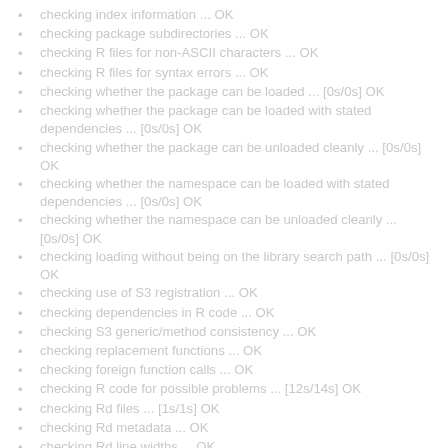checking index information ... OK
checking package subdirectories ... OK
checking R files for non-ASCII characters ... OK
checking R files for syntax errors ... OK
checking whether the package can be loaded ... [0s/0s] OK
checking whether the package can be loaded with stated dependencies ... [0s/0s] OK
checking whether the package can be unloaded cleanly ... [0s/0s] OK
checking whether the namespace can be loaded with stated dependencies ... [0s/0s] OK
checking whether the namespace can be unloaded cleanly ... [0s/0s] OK
checking loading without being on the library search path ... [0s/0s] OK
checking use of S3 registration ... OK
checking dependencies in R code ... OK
checking S3 generic/method consistency ... OK
checking replacement functions ... OK
checking foreign function calls ... OK
checking R code for possible problems ... [12s/14s] OK
checking Rd files ... [1s/1s] OK
checking Rd metadata ... OK
checking Rd line widths ... OK
checking Rd cross-references ... OK